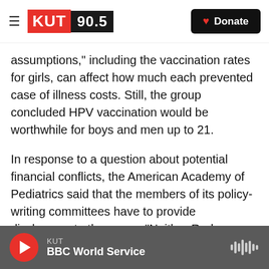KUT 90.5 | Donate
assumptions," including the vaccination rates for girls, can affect how much each prevented case of illness costs. Still, the group concluded HPV vaccination would be worthwhile for boys and men up to 21.
In response to a question about potential financial conflicts, the American Academy of Pediatrics said that the members of its policy-writing committees have to provide disclosures to the group. "Neither Rodney Willoughby, the lead author of the HPV policy, or Michael Brady, the chair of the Committee on Infectious Diseases, had any financial
KUT | BBC World Service